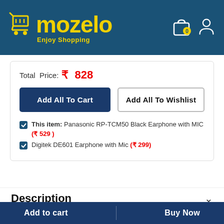[Figure (logo): Mozelo shopping logo with cart icon and 'Enjoy Shopping' tagline on blue background with bag and user icons]
Total Price: ₹ 828
Add All To Cart
Add All To Wishlist
This item: Panasonic RP-TCM50 Black Earphone with MIC (₹ 529 )
Digitek DE601 Earphone with Mic (₹ 299)
Description
Add to cart   Buy Now